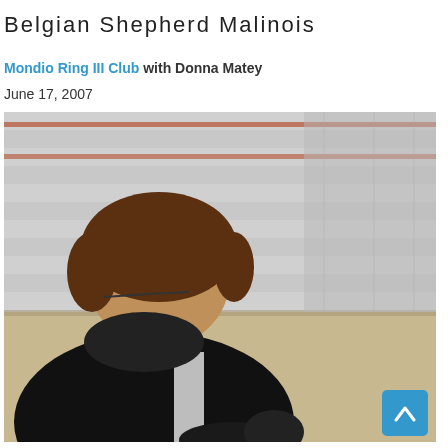Belgian Shepherd Malinois
Mondio Ring III Club with Donna Matey
June 17, 2007
[Figure (photo): A person with curly brown hair and glasses wearing a dark jacket looks downward, with bleacher seating visible in the background. A dark animal (dog) is partially visible at the bottom. A blue scroll-to-top button is in the lower right corner.]